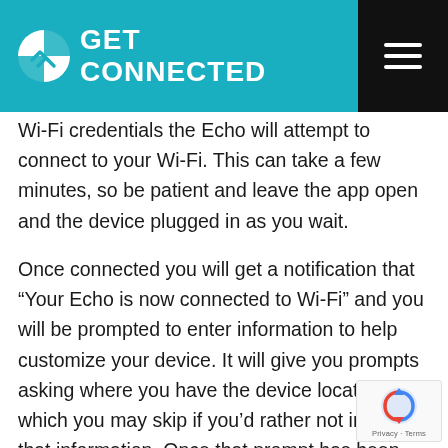GET CONNECTED
Wi-Fi credentials the Echo will attempt to connect to your Wi-Fi. This can take a few minutes, so be patient and leave the app open and the device plugged in as you wait.
Once connected you will get a notification that “Your Echo is now connected to Wi-Fi” and you will be prompted to enter information to help customize your device. It will give you prompts asking where you have the device located, which you may skip if you’d rather not include that information. Once that prompt has been addressed, you’re all done!